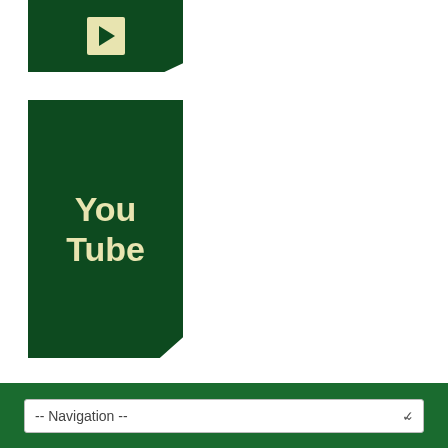[Figure (logo): Partially cropped YouTube-style dark green button with play icon in cream/yellow color]
[Figure (logo): Dark green YouTube logo block with 'You Tube' text in cream/yellow color, folded bottom-right corner]
[Figure (screenshot): Navigation dropdown bar on dark green background reading '-- Navigation --' with chevron]
Danahey on the loose on ice, Crystal and otherwise
Posted on November 19, 2017 by Mike Danahey • 0Comments
So I went to see Cirque du Soleil Crystal, the latest creation
[Figure (photo): Dark photograph with blue-lit ice/crystal formations from Cirque du Soleil Crystal]